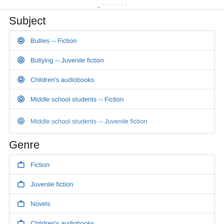Subject
Bullies -- Fiction
Bullying -- Juvenile fiction
Children's audiobooks
Middle school students -- Fiction
Middle school students -- Juvenile fiction
Genre
Fiction
Juvenile fiction
Novels
Children's audiobooks
Audiobooks
Member of